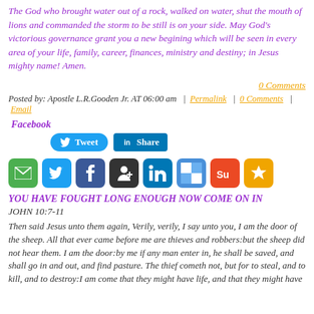The God who brought water out of a rock, walked on water, shut the mouth of lions and commanded the storm to be still is on your side. May God's victorious governance grant you a new begining which will be seen in every area of your life, family, career, finances, ministry and destiny; in Jesus mighty name! Amen.
0 Comments
Posted by: Apostle L.R.Gooden Jr. AT 06:00 am  |  Permalink  |  0 Comments  |  Email
Facebook
[Figure (infographic): Tweet button and LinkedIn Share button]
[Figure (infographic): Row of social media sharing icons: email, Twitter, Facebook, meetup, LinkedIn, squarespace, stumbleupon, favorites/star]
YOU HAVE FOUGHT LONG ENOUGH NOW COME ON IN
JOHN 10:7-11
Then said Jesus unto them again, Verily, verily, I say unto you, I am the door of the sheep. All that ever came before me are thieves and robbers:but the sheep did not hear them. I am the door:by me if any man enter in, he shall be saved, and shall go in and out, and find pasture. The thief cometh not, but for to steal, and to kill, and to destroy:I am come that they might have life, and that they might have